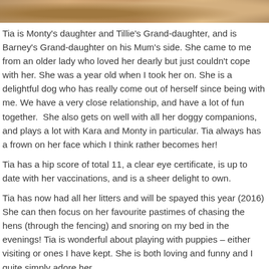[Figure (photo): Top portion of a dog photo, showing fur in warm golden/brown tones]
Tia is Monty's daughter and Tillie's Grand-daughter, and is Barney's Grand-daughter on his Mum's side. She came to me from an older lady who loved her dearly but just couldn't cope with her. She was a year old when I took her on. She is a delightful dog who has really come out of herself since being with me. We have a very close relationship, and have a lot of fun together.  She also gets on well with all her doggy companions, and plays a lot with Kara and Monty in particular. Tia always has a frown on her face which I think rather becomes her!
Tia has a hip score of total 11, a clear eye certificate, is up to date with her vaccinations, and is a sheer delight to own.
Tia has now had all her litters and will be spayed this year (2016) She can then focus on her favourite pastimes of chasing the hens (through the fencing) and snoring on my bed in the evenings! Tia is wonderful about playing with puppies – either visiting or ones I have kept. She is both loving and funny and I quite simply adore her.